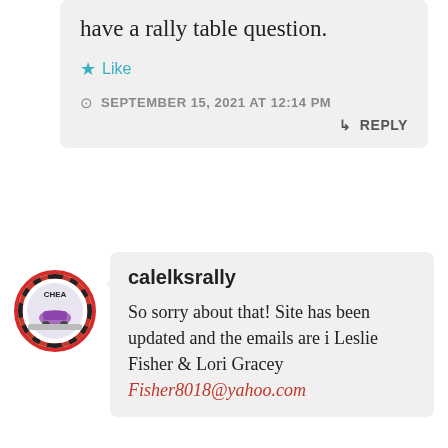have a rally table question.
★ Like
SEPTEMBER 15, 2021 AT 12:14 PM
↳ REPLY
[Figure (logo): CHEA rally circular logo with red border, checkered pattern, and purple car graphic]
calelksrally
So sorry about that! Site has been updated and the emails are i Leslie Fisher & Lori Gracey Fisher8018@yahoo.com